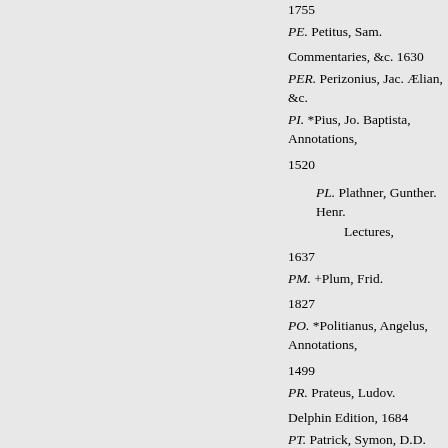1755
PE. Petitus, Sam.
Commentaries, &c. 1630
PER. Perizonius, Jac. Ælian, &c.
PI. *Pius, Jo. Baptista, Annotations,
1520
PL. Plathner, Gunther. Henr. Lectures,
1637
PM. +Plum, Frid.
1827
PO. *Politianus, Angelus, Annotations,
1499
PR. Prateus, Ludov.
Delphin Edition, 1684
PT. Patrick, Symon, D.D. (Bishop of Ely)
Comment. on Scripture, 1695